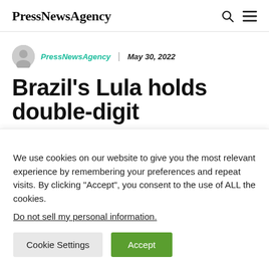PressNewsAgency
PressNewsAgency | May 30, 2022
Brazil's Lula holds double-digit
We use cookies on our website to give you the most relevant experience by remembering your preferences and repeat visits. By clicking “Accept”, you consent to the use of ALL the cookies.
Do not sell my personal information.